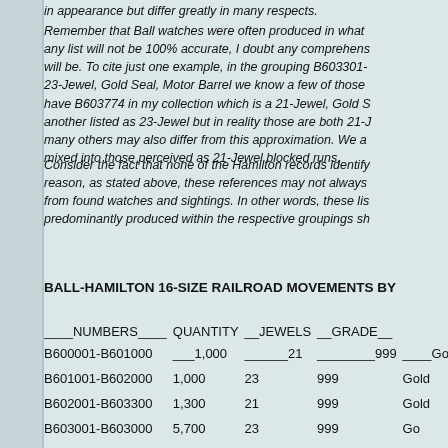in appearance but differ greatly in many respects.
Remember that Ball watches were often produced in what any list will not be 100% accurate, I doubt any comprehens will be. To cite just one example, in the grouping B603301- 23-Jewel, Gold Seal, Motor Barrel we know a few of those have B603774 in my collection which is a 21-Jewel, Gold S another listed as 23-Jewel but in reality those are both 21-J many others may also differ from this approximation. We a mixed into those perceived as 21-Jewel blocked runs.
Consider the fact that none of the Hamilton records identify reason, as stated above, these references may not always from found watches and sightings. In other words, these lis predominantly produced within the respective groupings sh
BALL-HAMILTON 16-SIZE RAILROAD MOVEMENTS BY
| NUMBERS | QUANTITY | JEWELS | GRADE |
| --- | --- | --- | --- |
| B600001-B601000 | 1,000 | 21 | 999 | Gold |
| B601001-B602000 | 1,000 | 23 | 999 | Gold |
| B602001-B603300 | 1,300 | 21 | 999 | Gold |
| B603001-B603000 | 5,700 | 23 | 999 | Go... |